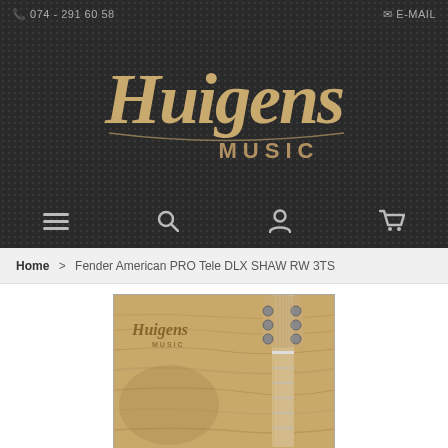074 - 291 60 58  |  E-MAIL
[Figure (logo): Huigens Music logo in gold/tan decorative script on dark textured background]
[Figure (illustration): Navigation icons: hamburger menu, search, user/account, shopping cart]
Home > Fender American PRO Tele DLX SHAW RW 3TS
[Figure (photo): Photo of Fender guitar headstock/neck against a wood-grain background with Huigens Music store logo visible]